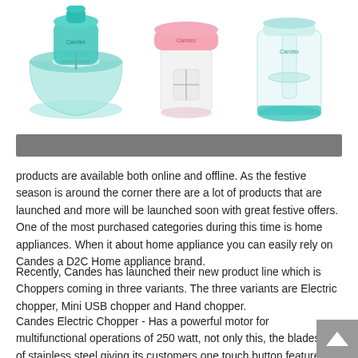[Figure (photo): Three kitchen chopper products shown side by side: a teal/green manual hand chopper on the left, a pink/clear mini USB chopper in the center, and a teal/clear electric chopper on the right. Products appear to be from the Candes brand.]
products are available both online and offline. As the festive season is around the corner there are a lot of products that are launched and more will be launched soon with great festive offers. One of the most purchased categories during this time is home appliances. When it about home appliance you can easily rely on Candes a D2C Home appliance brand.
Recently, Candes has launched their new product line which is Choppers coming in three variants. The three variants are Electric chopper, Mini USB chopper and Hand chopper.
Candes Electric Chopper - Has a powerful motor for multifunctional operations of 250 watt, not only this, the blades are of stainless steel giving its customers one touch button feature for quick chopping. MRP - 2099 and festive price - INR 999/-